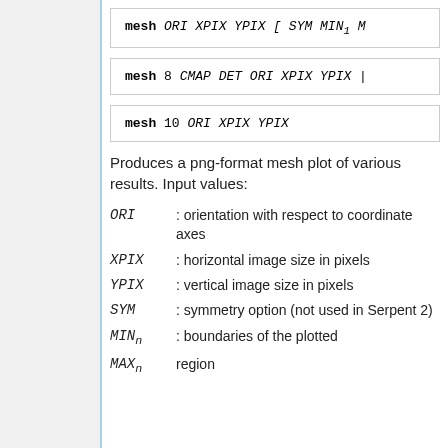Produces a png-format mesh plot of various results. Input values:
ORI : orientation with respect to coordinate axes
XPIX : horizontal image size in pixels
YPIX : vertical image size in pixels
SYM : symmetry option (not used in Serpent 2)
MIN_n : boundaries of the plotted
MAX_n region